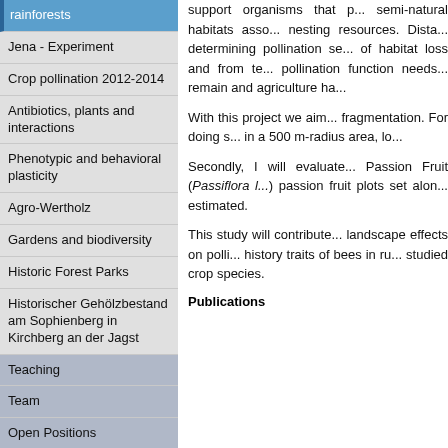rainforests
Jena - Experiment
Crop pollination 2012-2014
Antibiotics, plants and interactions
Phenotypic and behavioral plasticity
Agro-Wertholz
Gardens and biodiversity
Historic Forest Parks
Historischer Gehölzbestand am Sophienberg in Kirchberg an der Jagst
Teaching
Team
Open Positions
Contact
Department Head:
Prof. Dr. Alexandra-Maria Klein
phone:+49 (0)761 203-67770
support organisms that p... semi-natural habitats asso... nesting resources. Dista... determining pollination se... of habitat loss and from te... pollination function needs... remain and agriculture ha...
With this project we aim... fragmentation. For doing s... in a 500 m-radius area, lo...
Secondly, I will evaluate... Passion Fruit (Passiflora l... passion fruit plots set alon... estimated.
This study will contribute... landscape effects on polli... history traits of bees in ru... studied crop species.
Publications